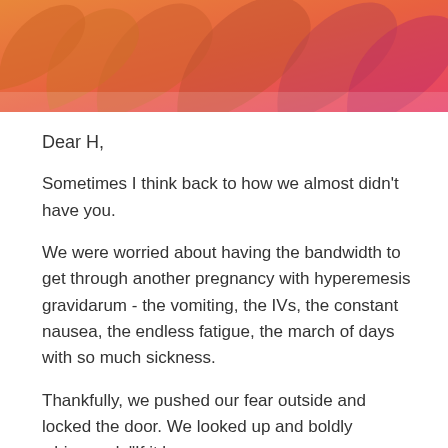[Figure (illustration): Abstract warm gradient background image with orange, coral, and pink tones, appearing to show abstract leaf or floral shapes]
Dear H,
Sometimes I think back to how we almost didn't have you.
We were worried about having the bandwidth to get through another pregnancy with hyperemesis gravidarum - the vomiting, the IVs, the constant nausea, the endless fatigue, the march of days with so much sickness.
Thankfully, we pushed our fear outside and locked the door. We looked up and boldly whispered, "If it be